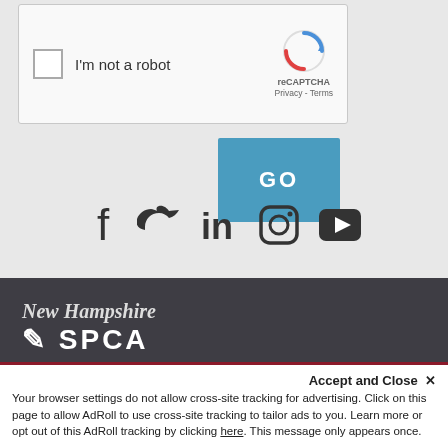[Figure (screenshot): reCAPTCHA widget with checkbox labeled 'I'm not a robot' and reCAPTCHA logo with Privacy and Terms links]
[Figure (screenshot): Blue GO button]
[Figure (infographic): Social media icons: Facebook, Twitter, LinkedIn, Instagram, YouTube in dark color on light gray background]
[Figure (logo): New Hampshire SPCA logo text in white on dark gray background]
Your browser settings do not allow cross-site tracking for advertising. Click on this page to allow AdRoll to use cross-site tracking to tailor ads to you. Learn more or opt out of this AdRoll tracking by clicking here. This message only appears once.